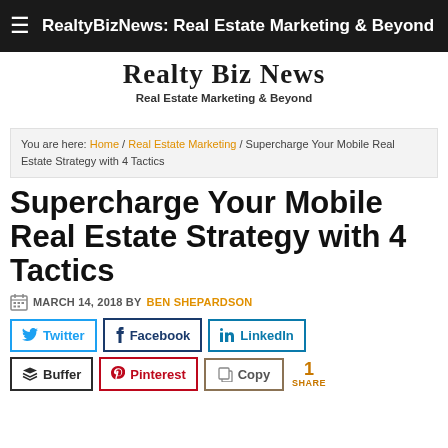RealtyBizNews: Real Estate Marketing & Beyond
[Figure (logo): RealtyBizNews logo with tagline 'Real Estate Marketing & Beyond']
You are here: Home / Real Estate Marketing / Supercharge Your Mobile Real Estate Strategy with 4 Tactics
Supercharge Your Mobile Real Estate Strategy with 4 Tactics
MARCH 14, 2018 BY BEN SHEPARDSON